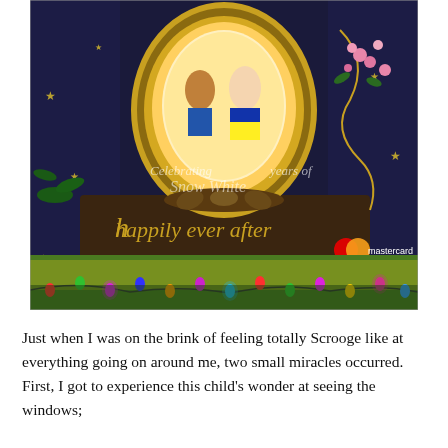[Figure (photo): A Disney store window display celebrating years of Snow White. Features an illuminated oval gold-framed mirror with Disney characters, dark blue star-spangled drapes, decorative flowering branches, a brown base reading 'happily ever after' in stylized text, Mastercard logo, and colorful twinkling Christmas lights at the bottom on artificial grass.]
Just when I was on the brink of feeling totally Scrooge like at everything going on around me, two small miracles occurred. First, I got to experience this child's wonder at seeing the windows;